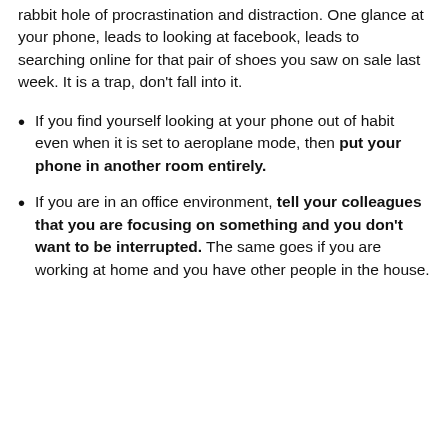rabbit hole of procrastination and distraction. One glance at your phone, leads to looking at facebook, leads to searching online for that pair of shoes you saw on sale last week. It is a trap, don't fall into it.
If you find yourself looking at your phone out of habit even when it is set to aeroplane mode, then put your phone in another room entirely.
If you are in an office environment, tell your colleagues that you are focusing on something and you don't want to be interrupted. The same goes if you are working at home and you have other people in the house.